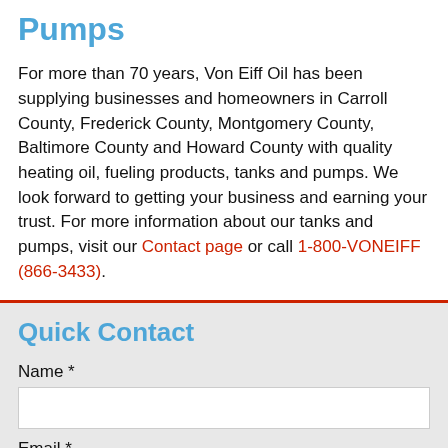Pumps
For more than 70 years, Von Eiff Oil has been supplying businesses and homeowners in Carroll County, Frederick County, Montgomery County, Baltimore County and Howard County with quality heating oil, fueling products, tanks and pumps. We look forward to getting your business and earning your trust. For more information about our tanks and pumps, visit our Contact page or call 1-800-VONEIFF (866-3433).
Quick Contact
Name *
Email *
Phone